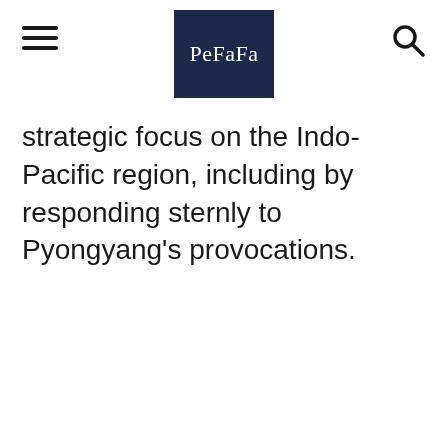PeFaFa
strategic focus on the Indo-Pacific region, including by responding sternly to Pyongyang's provocations.